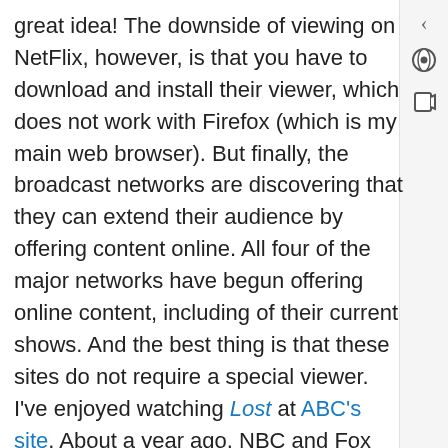great idea!  The downside of viewing on NetFlix, however, is that you have to download and install their viewer, which does not work with Firefox (which is my main web browser). But finally, the broadcast networks are discovering that they can extend their audience by offering content online. All four of the major networks have begun offering online content, including of their current shows. And the best thing is that these sites do not require a special viewer. I've enjoyed watching Lost at ABC's site. About a year ago, NBC and Fox collaborated to open hulu.com. CBS's content is hosted by joost.com. The two things that will make or break these sites are the quality of the content and ease of use. The quality of content is pretty good, I think. The ease of use is fine as long as you want to view the content on your computer. The next step in the ease of use battle is to make it easier to connect the TV itself to the Internet.